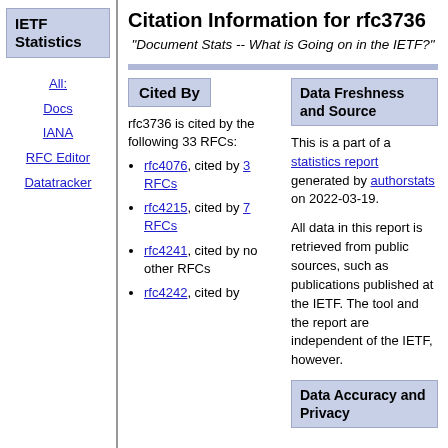IETF Statistics
All: Docs IANA RFC Editor Datatracker
Citation Information for rfc3736
"Document Stats -- What is Going on in the IETF?"
Cited By
rfc3736 is cited by the following 33 RFCs:
rfc4076, cited by 3 RFCs
rfc4215, cited by 7 RFCs
rfc4241, cited by no other RFCs
rfc4242, cited by
Data Freshness and Source
This is a part of a statistics report generated by authorstats on 2022-03-19.
All data in this report is retrieved from public sources, such as publications published at the IETF. The tool and the report are independent of the IETF, however.
Data Accuracy and Privacy